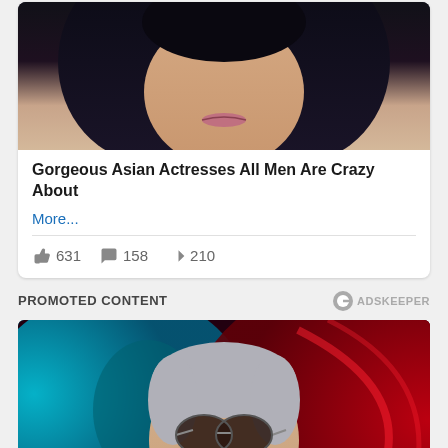[Figure (photo): Close-up photo of a woman with dark hair and light skin, cropped at the face/neck area against a light background. Top portion of a content card.]
Gorgeous Asian Actresses All Men Are Crazy About
More...
👍 631  💬 158  ➤ 210
PROMOTED CONTENT
[Figure (photo): Photo of a middle-aged woman with silver/grey hair pulled back, wearing round sunglasses and hoop earrings, against a vivid red and teal swirling background.]